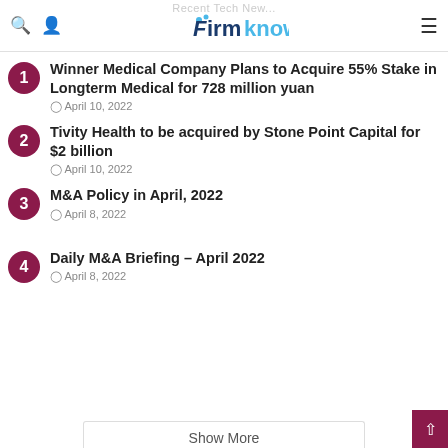FirmKnow
Winner Medical Company Plans to Acquire 55% Stake in Longterm Medical for 728 million yuan — April 10, 2022
Tivity Health to be acquired by Stone Point Capital for $2 billion — April 10, 2022
M&A Policy in April, 2022 — April 8, 2022
Daily M&A Briefing – April 2022 — April 8, 2022
Show More